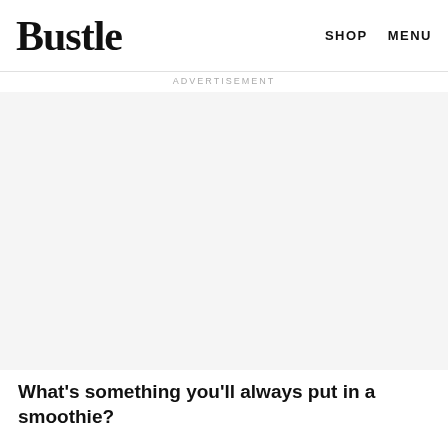medical experience [laughs].
Bustle    SHOP    MENU
ADVERTISEMENT
[Figure (other): Advertisement placeholder area with light grey background]
What's something you'll always put in a smoothie?